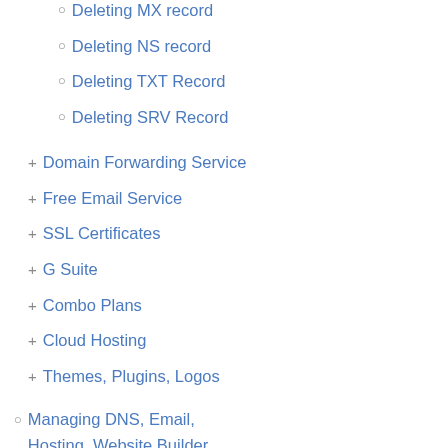Deleting MX record
Deleting NS record
Deleting TXT Record
Deleting SRV Record
Domain Forwarding Service
Free Email Service
SSL Certificates
G Suite
Combo Plans
Cloud Hosting
Themes, Plugins, Logos
Managing DNS, Email, Hosting, Website Builder, SiteLock and CodeGuard through your HTTP API Integration
IMPORTANT: API Abuse